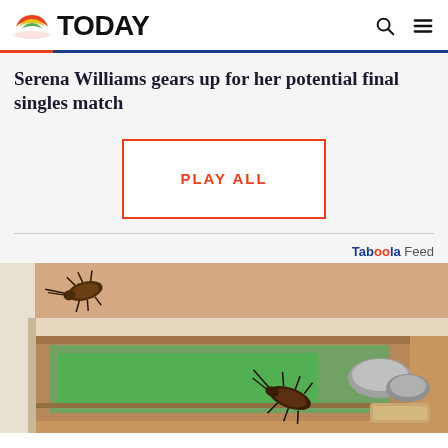TODAY
Serena Williams gears up for her potential final singles match
PLAY ALL
Taboola Feed
[Figure (illustration): Illustration showing cockroaches on a kitchen counter/drawer with a green surface visible, part of a Taboola advertisement]